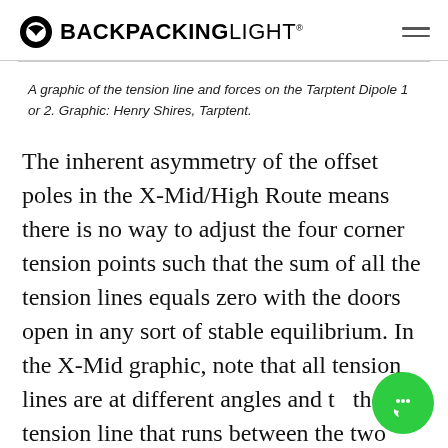BACKPACKINGLIGHT
A graphic of the tension line and forces on the Tarptent Dipole 1 or 2. Graphic: Henry Shires, Tarptent.
The inherent asymmetry of the offset poles in the X-Mid/High Route means there is no way to adjust the four corner tension points such that the sum of all the tension lines equals zero with the doors open in any sort of stable equilibrium. In the X-Mid graphic, note that all tension lines are at different angles and th the T3 tension line that runs between the two